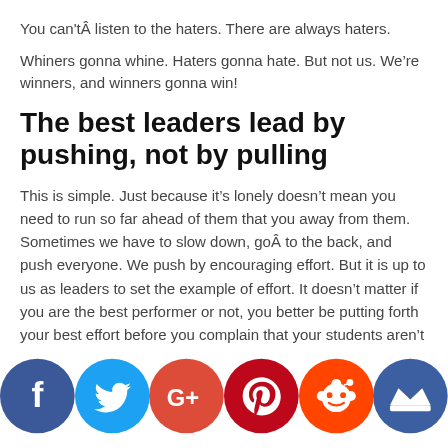You can'tÂ listen to the haters. There are always haters.
Whiners gonna whine. Haters gonna hate. But not us. We're winners, and winners gonna win!
The best leaders lead by pushing, not by pulling
This is simple. Just because it’s lonely doesn’t mean you need to run so far ahead of them that you away from them. Sometimes we have to slow down, goÂ to the back, and push everyone. We push by encouraging effort. But it is up to us as leaders to set the example of effort. It doesn’t matter if you are the best performer or not, you better be putting forth your best effort before you complain that your students aren’t trying!
[Figure (other): Social sharing buttons: Facebook (blue), Twitter (light blue), Google+ (red-orange), Pinterest (dark red), Reddit (orange), Crown/other (dark blue)]